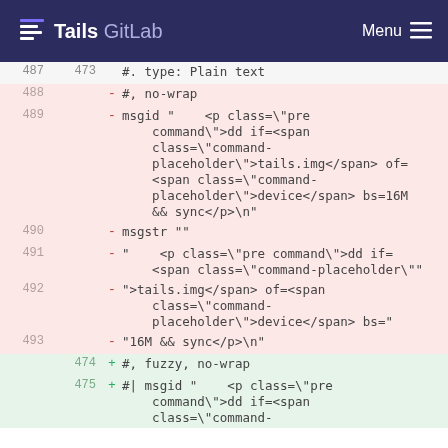Tails GitLab  Menu
487  473  #. type: Plain text
488  -  #, no-wrap
489  -  msgid "    <p class=\"pre command\">dd if=<span class=\"command-placeholder\">tails.img</span> of=<span class=\"command-placeholder\">device</span> bs=16M && sync</p>\n"
490  -  msgstr ""
491  -  "    <p class=\"pre command\">dd if=<span class=\"command-placeholder\""
492  -  ">tails.img</span> of=<span class=\"command-placeholder\">device</span> bs="
493  -  "16M && sync</p>\n"
474  +  #, fuzzy, no-wrap
475  +  #| msgid "    <p class=\"pre command\">dd if=<span class=\"command-